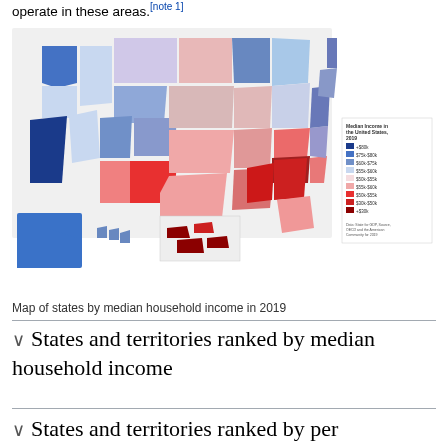operate in these areas.[note 1]
[Figure (map): Choropleth map of the United States showing median household income by state in 2019. States are colored on a blue-to-red scale where blue indicates higher income (above $80k) and red/dark red indicates lower income (below $30k-$50k). California, Maryland, New Jersey, and Massachusetts appear in dark blue (highest income). Mississippi, Louisiana, Arkansas, and West Virginia appear in dark red (lowest income). Includes insets for Alaska, Hawaii, and Puerto Rico, plus a legend.]
Map of states by median household income in 2019
States and territories ranked by median household income
States and territories ranked by per